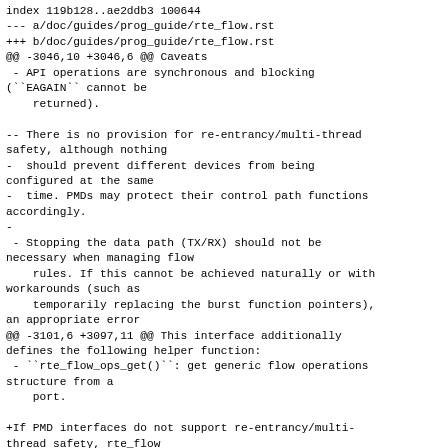index 119b128..ae2ddb3 100644
--- a/doc/guides/prog_guide/rte_flow.rst
+++ b/doc/guides/prog_guide/rte_flow.rst
@@ -3046,10 +3046,6 @@ Caveats
 - API operations are synchronous and blocking
(``EAGAIN`` cannot be
    returned).

-- There is no provision for re-entrancy/multi-thread
safety, although nothing
-  should prevent different devices from being
configured at the same
-  time. PMDs may protect their control path functions
accordingly.
-
 - Stopping the data path (TX/RX) should not be
necessary when managing flow
    rules. If this cannot be achieved naturally or with
workarounds (such as
    temporarily replacing the burst function pointers),
an appropriate error
@@ -3101,6 +3097,11 @@ This interface additionally
defines the following helper function:
 - ``rte_flow_ops_get()``: get generic flow operations
structure from a
    port.

+If PMD interfaces do not support re-entrancy/multi-
thread safety, rte_flow
+level functions will do it by mutex. The application